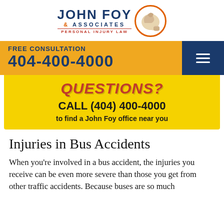[Figure (logo): John Foy & Associates Personal Injury Law logo with flexing arm in orange circle]
FREE CONSULTATION
404-400-4000
[Figure (infographic): Yellow banner: QUESTIONS? CALL (404) 400-4000 to find a John Foy office near you]
Injuries in Bus Accidents
When you're involved in a bus accident, the injuries you receive can be even more severe than those you get from other traffic accidents. Because buses are so much